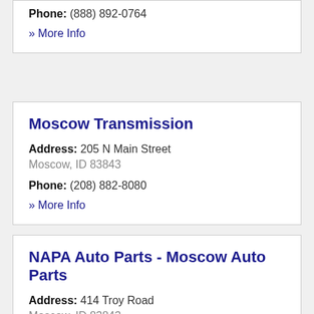Phone: (888) 892-0764
» More Info
Moscow Transmission
Address: 205 N Main Street
Moscow, ID 83843
Phone: (208) 882-8080
» More Info
NAPA Auto Parts - Moscow Auto Parts
Address: 414 Troy Road
Moscow, ID 83843
Phone: (208) 882-5596
» More Info